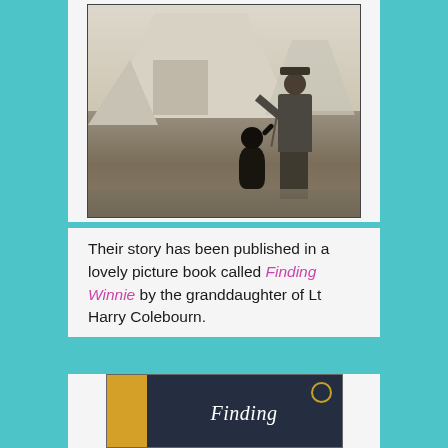[Figure (photo): Sepia-toned historical photograph showing a soldier in military uniform standing beside a small black bear cub on a leash, in front of a white canvas military tent. The soldier holds the bear's paw. The setting appears to be a military camp.]
Their story has been published in a lovely picture book called Finding Winnie by the granddaughter of Lt Harry Colebourn.
[Figure (photo): Partial view of the book cover of 'Finding Winnie' — showing a dark navy blue cover with the title 'Finding' written in white cursive script, a golden/yellow spine, and a circular emblem (likely an award medal) on the right side.]